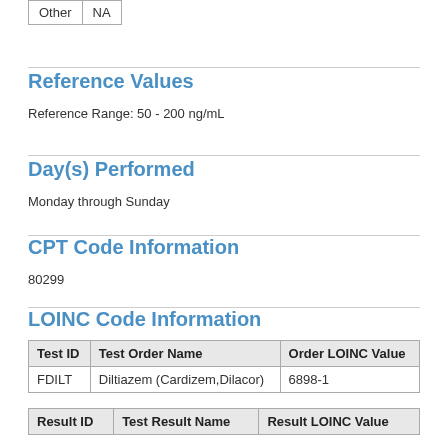|  |  |
| --- | --- |
| Other | NA |
Reference Values
Reference Range: 50 - 200 ng/mL
Day(s) Performed
Monday through Sunday
CPT Code Information
80299
LOINC Code Information
| Test ID | Test Order Name | Order LOINC Value |
| --- | --- | --- |
| FDILT | Diltiazem (Cardizem,Dilacor) | 6898-1 |
| Result ID | Test Result Name | Result LOINC Value |
| --- | --- | --- |